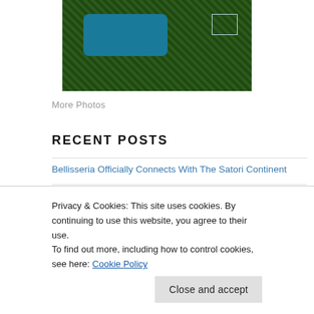[Figure (map): A satellite/map view showing green forested land masses and blue water areas, with a rectangular outline marker in the upper right area.]
More Photos
RECENT POSTS
Bellisseria Officially Connects With The Satori Continent
SSP Development Regions nOW sHOWING Up aS “oFFLINE”
Newbrooke: New Land Mass Arrives
Privacy & Cookies: This site uses cookies. By continuing to use this website, you agree to their use.
To find out more, including how to control cookies, see here: Cookie Policy
RECENT COMMENTS